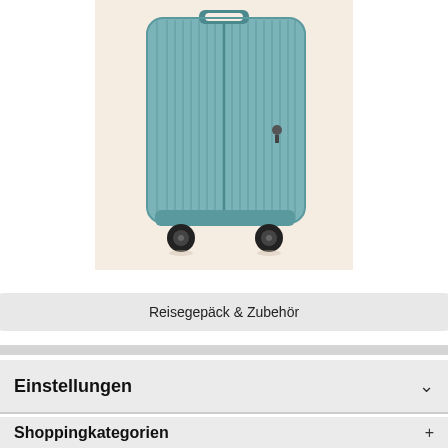[Figure (photo): A teal/blue hard-shell rolling suitcase with vertical ribbed texture, four wheels, and a zipper pull, displayed on a light beige/cream background.]
Reisegepäck & Zubehör
Einstellungen
Shoppingkategorien